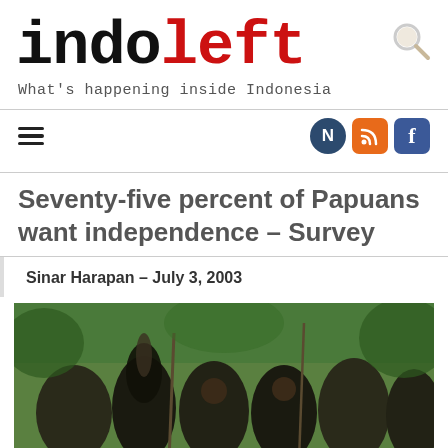indoleft – What's happening inside Indonesia
Seventy-five percent of Papuans want independence – Survey
Sinar Harapan – July 3, 2003
[Figure (photo): Papuan people in traditional dress and headwear marching or gathering outdoors, with trees in background]